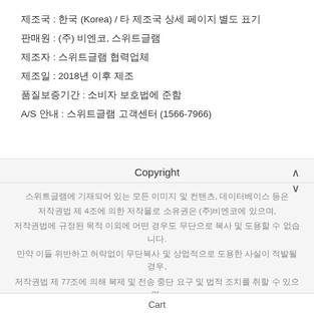제조국 : 한국 (Korea) / 타 제조국 상세 페이지 별도 표기
판매원 : (주) 비엔코, 스위트글램
제조자 : 스위트글램 협력업체
제조일 : 2018년 이후 제조
품질보증기간 : 소비자 보호법에 준함
A/S 안내 : 스위트글램 고객센터 (1566-7966)
Copyright
스위트글램에 기재되어 있는 모든 이미지 및 컨텐츠, 데이터베이스 등은 저작권법 제 4조에 의한 저작물로 소유권은 (주)비엔코에 있으며, 저작권법에 규정된 목적 이외에 어떤 경우도 무단으로 복사 및 도용할 수 없습니다. 만약 이들 위반하고 허락없이 무단복사 및 상업적으로 도용한 사실이 적발될 경우, 저작권법 제 77조에 의해 복제 및 전송 중단 요구 및 법적 조치를 취할 수 있으며,
Cart